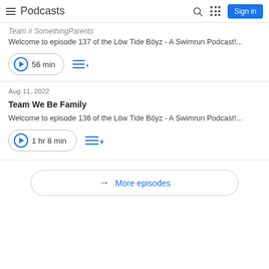Podcasts
Team # SomethingParents
Welcome to episode 137 of the Löw Tide Böyz - A Swimrun Podcast!...
56 min
Aug 11, 2022
Team We Be Family
Welcome to episode 136 of the Löw Tide Böyz - A Swimrun Podcast!...
1 hr 8 min
More episodes